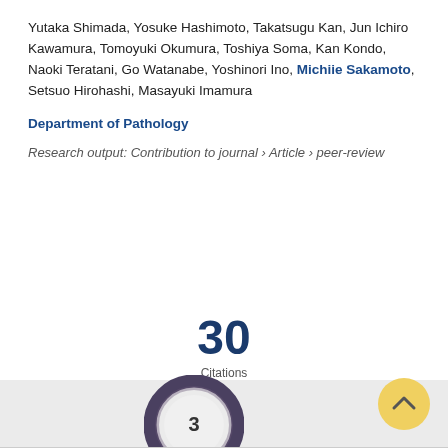Yutaka Shimada, Yosuke Hashimoto, Takatsugu Kan, Jun Ichiro Kawamura, Tomoyuki Okumura, Toshiya Soma, Kan Kondo, Naoki Teratani, Go Watanabe, Yoshinori Ino, Michiie Sakamoto, Setsuo Hirohashi, Masayuki Imamura
Department of Pathology
Research output: Contribution to journal › Article › peer-review
[Figure (infographic): Citation count badge showing 30 Citations (Scopus)]
[Figure (donut-chart): Donut chart with number 3 in center, dark purple/grey ring]